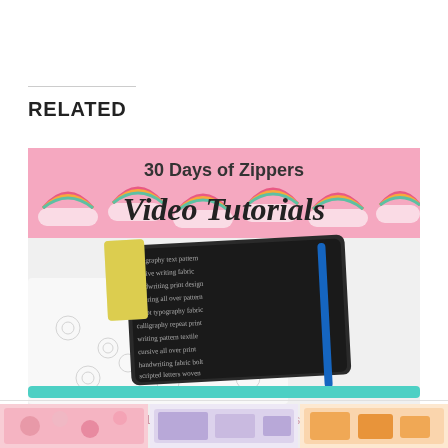RELATED
[Figure (photo): Image banner showing '30 Days of Zippers Video Tutorials' with pink rainbow fabric background on top and two zippered pouches below on white background]
30 Days of Zippers – Live Sewing Video Tutorials
In "Sewing"
[Figure (photo): Partial bottom strip showing colorful fabric/sewing related images cropped at bottom of page]